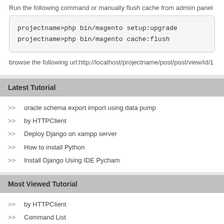Run the following command or manually flush cache from admiin panel
browse the following url:http://localhost/projectname/post/post/view/id/1
Latest Tutorial
oracle schema export import using data pump
by HTTPClient
Deploy Django on xampp server
How to install Python
Install Django Using IDE Pycham
Most Viewed Tutorial
by HTTPClient
Command List
by cURL
Custom Component Joomla 3.9
Custom Theme